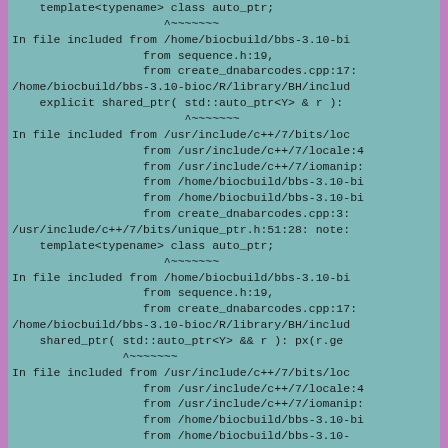compiler output log showing C++ template auto_ptr deprecation warnings and file inclusion chains